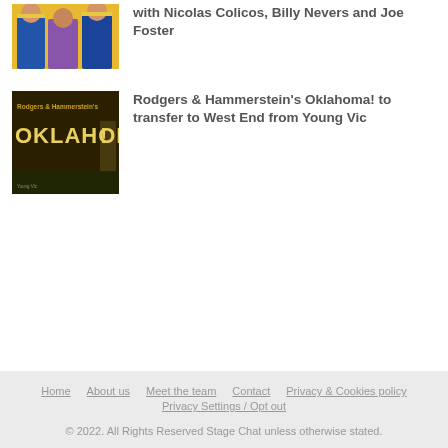[Figure (photo): Photo of three performers in Aladdin-style costumes (blue and gold), one in purple dress]
with Nicolas Colicos, Billy Nevers and Joe Foster
[Figure (photo): Promotional poster for Rodgers & Hammerstein's Oklahoma! with gold lettering on dark background]
Rodgers & Hammerstein's Oklahoma! to transfer to West End from Young Vic
Home  About us  Meet the team  Contact  Privacy & Cookies policy  Privacy Settings / Opt out
© 2022. All Rights Reserved Stage Chat unless otherwise stated.